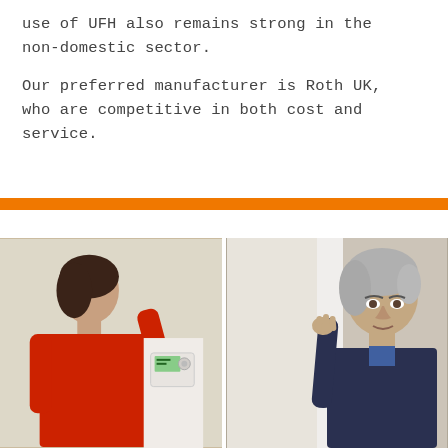use of UFH also remains strong in the non-domestic sector.

Our preferred manufacturer is Roth UK, who are competitive in both cost and service.
[Figure (photo): Two-panel photograph. Left panel: a person wearing a red shirt adjusting or inspecting a thermostat/control unit mounted on a white wall. Right panel: an older man with grey hair leaning against a white door frame, looking attentively.]